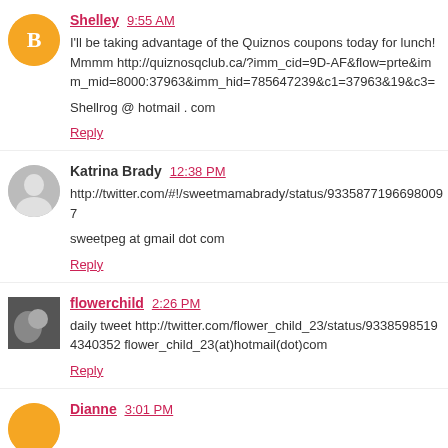Shelley 9:55 AM
I'll be taking advantage of the Quiznos coupons today for lunch! Mmmm http://quiznosqclub.ca/?imm_cid=9D-AF&flow=prte&imm_mid=8000:37963&imm_hid=785647239&c1=37963&19&c3=
Shellrog @ hotmail . com
Reply
Katrina Brady 12:38 PM
http://twitter.com/#!/sweetmamabrady/status/93358771966980097
sweetpeg at gmail dot com
Reply
flowerchild 2:26 PM
daily tweet http://twitter.com/flower_child_23/status/93385985194340352 flower_child_23(at)hotmail(dot)com
Reply
Dianne 3:01 PM